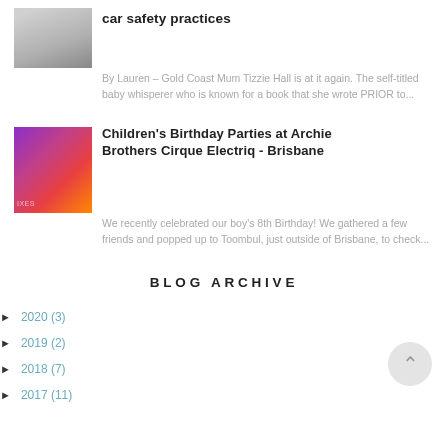car safety practices
[Figure (photo): Small thumbnail photo of a baby in a car seat, grayscale tones]
By Lauren – Gold Coast Mum Tizzie Hall is at it again. The self-titled baby whisperer who is known for a book that she wrote PRIOR to...
[Figure (photo): Thumbnail photo of children at a party venue with purple and red lighting, arcade-style environment]
Children's Birthday Parties at Archie Brothers Cirque Electriq - Brisbane
We recently celebrated our boy's 8th Birthday! We gathered a few friends and popped up to Toombul, just outside of Brisbane, to check...
BLOG ARCHIVE
► 2020 (3)
► 2019 (2)
► 2018 (7)
► 2017 (11)